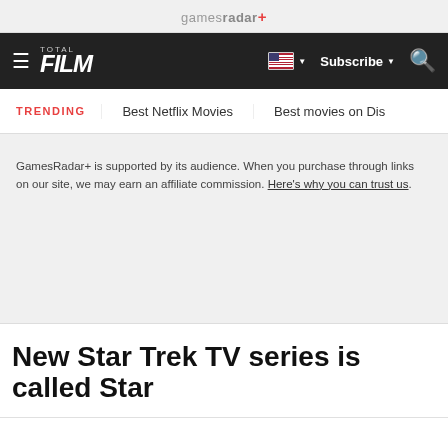gamesradar+
TOTAL FILM | ≡ | Subscribe ▼ | 🔍
TRENDING | Best Netflix Movies | Best movies on Dis
GamesRadar+ is supported by its audience. When you purchase through links on our site, we may earn an affiliate commission. Here's why you can trust us.
New Star Trek TV series is called Star